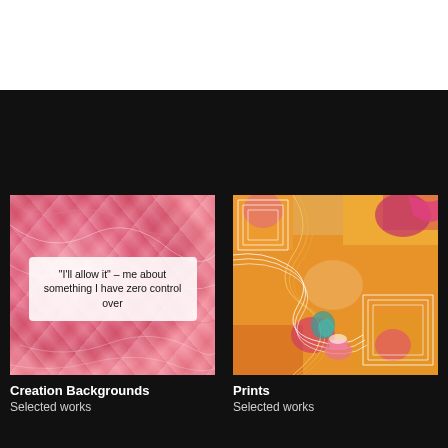[Figure (photo): Pink silk fabric texture background with a white rounded rectangle text overlay reading: "I'll allow it" – me about something I have zero control over]
Creation Backgrounds
Selected works
[Figure (illustration): Abstract colorful artwork with orange, pink, magenta, and white swirling geometric contour lines on an orange background with multicolored shapes]
Prints
Selected works